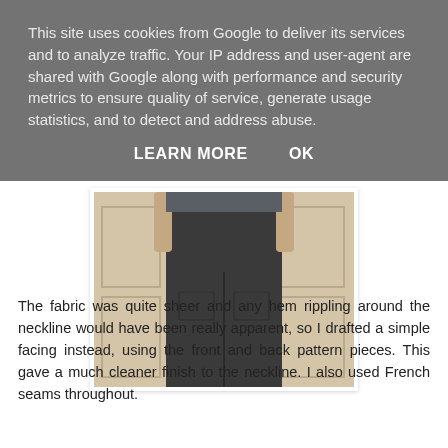This site uses cookies from Google to deliver its services and to analyze traffic. Your IP address and user-agent are shared with Google along with performance and security metrics to ensure quality of service, generate usage statistics, and to detect and address abuse.
LEARN MORE    OK
[Figure (photo): Photo of a person from behind wearing dark trousers, standing near a light-colored door.]
The fabric was quite sheer and any hem rippling around the neckline would have been really apparent, so I drafted a simple facing instead, using the front and back pattern pieces. This gave a much cleaner finish to the neckline. I also used French seams throughout.